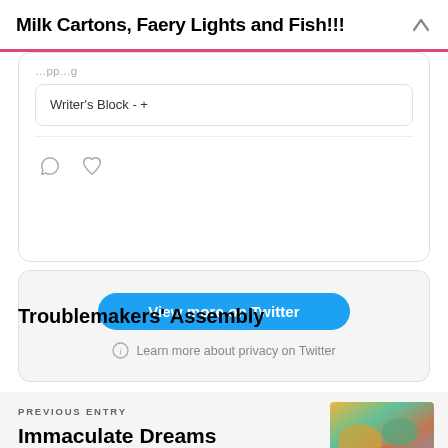Milk Cartons, Faery Lights and Fish!!!
Writer's Block - +
[Figure (screenshot): Twitter embed card with comment and heart icons]
View more on Twitter
Learn more about privacy on Twitter
Troublemakers’ Assembly
PREVIOUS ENTRY
Immaculate Dreams Sketch
[Figure (illustration): Colorful thumbnail image with warm and cool tones]